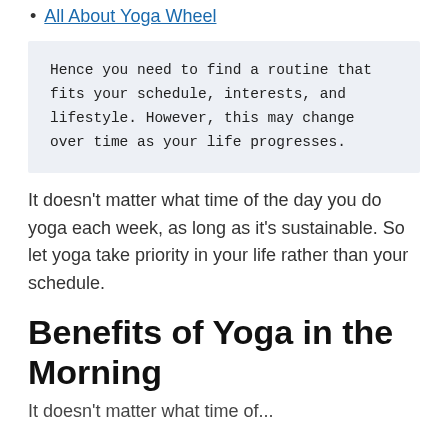All About Yoga Wheel
Hence you need to find a routine that fits your schedule, interests, and lifestyle. However, this may change over time as your life progresses.
It doesn't matter what time of the day you do yoga each week, as long as it's sustainable. So let yoga take priority in your life rather than your schedule.
Benefits of Yoga in the Morning
It doesn't matter what time of...